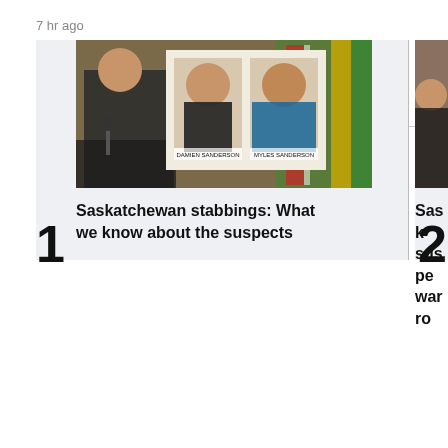7 hr ago
MOST READ
[Figure (photo): Press conference photo showing a police officer at a podium with two mugshots displayed on a board — Damien Sanderson and Myles Sanderson — with Canadian and Saskatchewan flags in the background.]
Saskatchewan stabbings: What we know about the suspects
[Figure (photo): Partial photo of a person's face, partially cropped, associated with article number 2.]
Sask… suspe… warro…